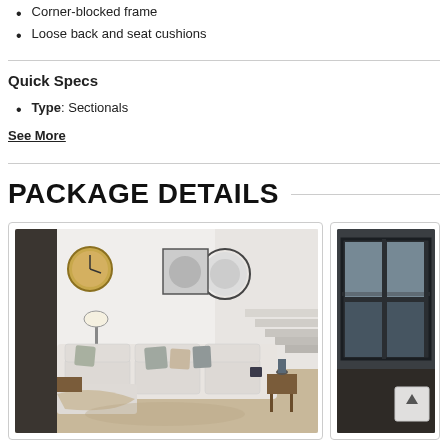Corner-blocked frame
Loose back and seat cushions
Quick Specs
Type: Sectionals
See More
PACKAGE DETAILS
[Figure (photo): A light gray sectional sofa in a modern living room with decorative pillows, a round wall mirror, a clock, and side tables.]
[Figure (photo): Partial view of a second product image showing a dark interior setting, cropped at page edge.]